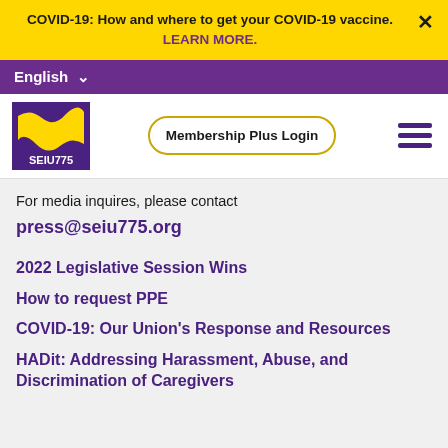COVID-19: How and where to get your COVID-19 vaccine. LEARN MORE.
English
[Figure (logo): SEIU 775 logo with yellow wave graphic on purple background]
Membership Plus Login
For media inquires, please contact
press@seiu775.org
2022 Legislative Session Wins
How to request PPE
COVID-19: Our Union's Response and Resources
HADit: Addressing Harassment, Abuse, and Discrimination of Caregivers